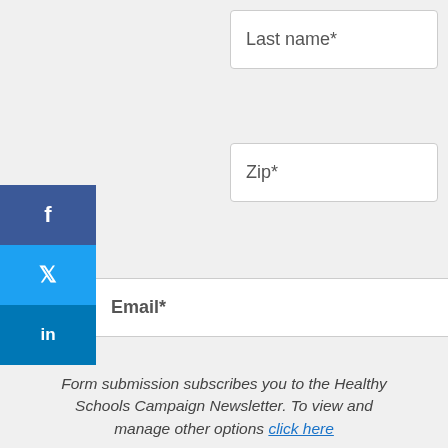[Figure (screenshot): Form input field labeled 'Last name*' — white rectangular input box]
[Figure (screenshot): Form input field labeled 'Zip*' — white rectangular input box]
[Figure (screenshot): Social media sidebar with Facebook (f), Twitter (bird), and LinkedIn (in) buttons in blue]
[Figure (screenshot): Form input field labeled 'Email*' — white rectangular input box spanning full width]
Form submission subscribes you to the Healthy Schools Campaign Newsletter. To view and manage other options click here